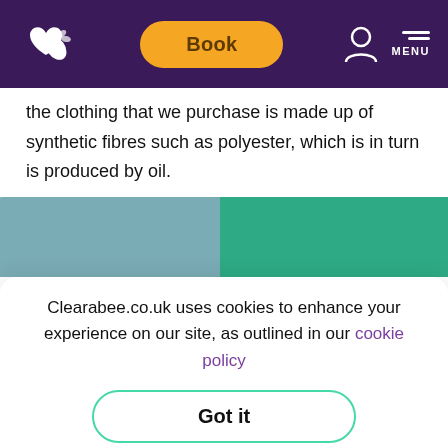Book | MENU
the clothing that we purchase is made up of synthetic fibres such as polyester, which is in turn is produced by oil.
[Figure (photo): Folded polo shirts in blue/teal and green colors arranged side by side]
Clearabee.co.uk uses cookies to enhance your experience on our site, as outlined in our cookie policy
Got it
[Figure (photo): Bottom strip showing coral/red and grey folded clothing]